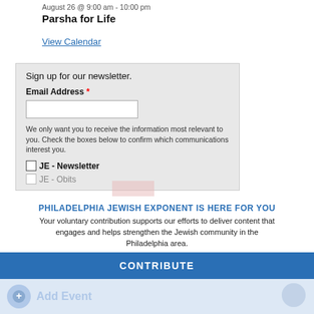August 26 @ 9:00 am - 10:00 pm
Parsha for Life
View Calendar
Sign up for our newsletter.
Email Address *
We only want you to receive the information most relevant to you. Check the boxes below to confirm which communications interest you.
JE - Newsletter
JE - Obits
PHILADELPHIA JEWISH EXPONENT IS HERE FOR YOU
Your voluntary contribution supports our efforts to deliver content that engages and helps strengthen the Jewish community in the Philadelphia area.
CONTRIBUTE